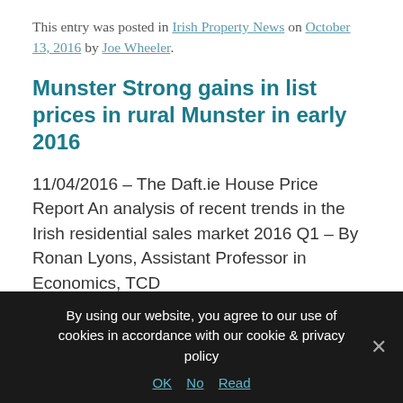This entry was posted in Irish Property News on October 13, 2016 by Joe Wheeler.
Munster Strong gains in list prices in rural Munster in early 2016
11/04/2016 – The Daft.ie House Price Report An analysis of recent trends in the Irish residential sales market 2016 Q1 – By Ronan Lyons, Assistant Professor in Economics, TCD
You can view the full Daft.ie House Price Report Q1 2016 here
By using our website, you agree to our use of cookies in accordance with our cookie & privacy policy
OK  No  Read